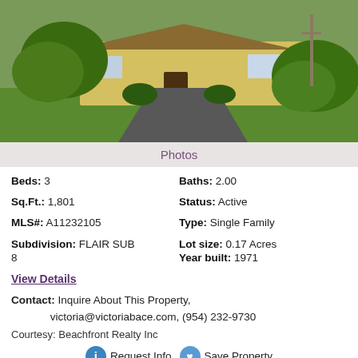[Figure (photo): Exterior photo of a single-family yellow house with lush green landscaping and a paved driveway]
Photos
Beds: 3   Baths: 2.00
Sq.Ft.: 1,801   Status: Active
MLS#: A11232105   Type: Single Family
Subdivision: FLAIR SUB 8   Lot size: 0.17 Acres
Year built: 1971
View Details
Contact: Inquire About This Property, victoria@victoriabace.com, (954) 232-9730
Courtesy: Beachfront Realty Inc
Request Info   Save Property